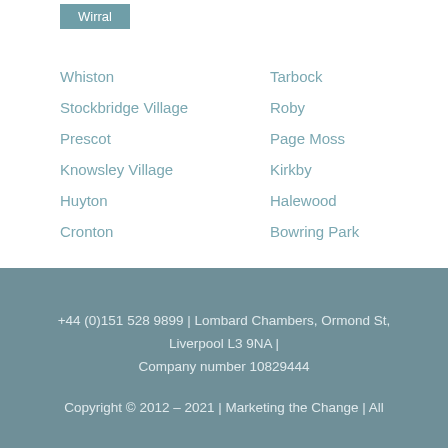Wirral
Whiston
Stockbridge Village
Prescot
Knowsley Village
Huyton
Cronton
Tarbock
Roby
Page Moss
Kirkby
Halewood
Bowring Park
+44 (0)151 528 9899 | Lombard Chambers, Ormond St, Liverpool L3 9NA | Company number 10829444
Copyright © 2012 – 2021 | Marketing the Change | All